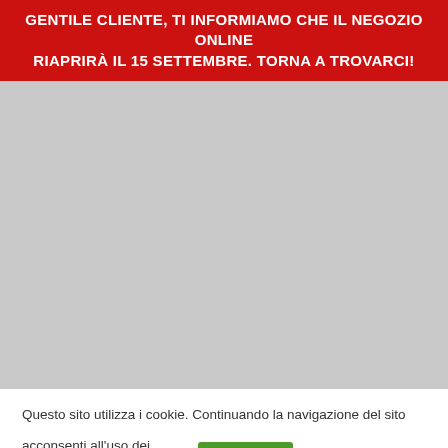GENTILE CLIENTE, TI INFORMIAMO CHE IL NEGOZIO ONLINE RIAPRIRÀ IL 15 SETTEMBRE. TORNA A TROVARCI!
[Figure (other): Large grey placeholder rectangle representing the website body/content area]
Questo sito utilizza i cookie. Continuando la navigazione del sito acconsenti all'uso dei cookie. [Accetta] Informativa estesa